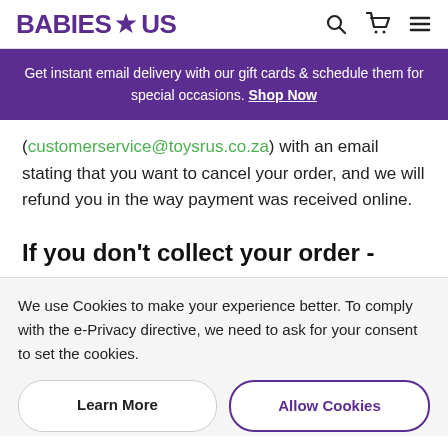Babies R Us — header with search, cart, and menu icons
Get instant email delivery with our gift cards & schedule them for special occasions. Shop Now
(customerservice@toysrus.co.za) with an email stating that you want to cancel your order, and we will refund you in the way payment was received online.
If you don't collect your order -
We use Cookies to make your experience better. To comply with the e-Privacy directive, we need to ask for your consent to set the cookies.
Learn More | Allow Cookies